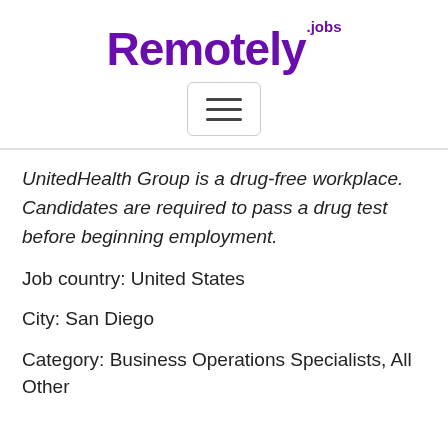Remotely.jobs
UnitedHealth Group is a drug-free workplace. Candidates are required to pass a drug test before beginning employment.
Job country: United States
City: San Diego
Category: Business Operations Specialists, All Other